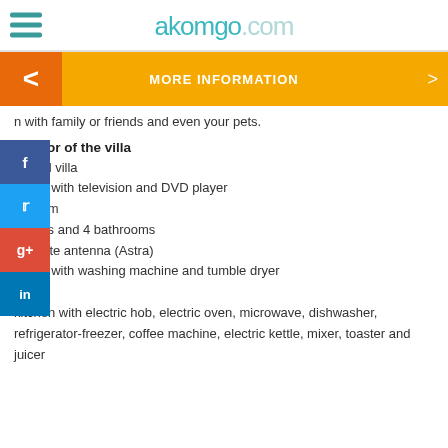akomgo.com
MORE INFORMATION
n with family or friends and even your pets.
Interior of the villa
3 level villa
room with television and DVD player
g room
rooms and 4 bathrooms
Satellite antenna (Astra)
room with washing machine and tumble dryer
en
kitchen with electric hob, electric oven, microwave, dishwasher, refrigerator-freezer, coffee machine, electric kettle, mixer, toaster and juicer